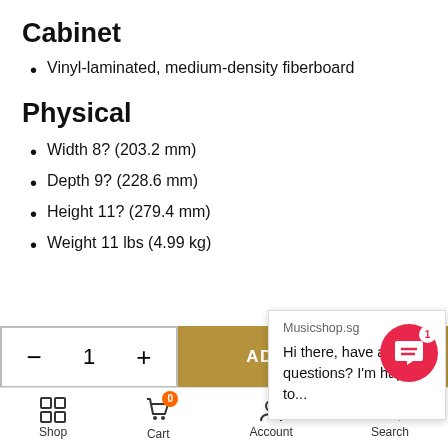Cabinet
Vinyl-laminated, medium-density fiberboard
Physical
Width 8? (203.2 mm)
Depth 9? (228.6 mm)
Height 11? (279.4 mm)
Weight 11 lbs (4.99 kg)
Musicshop.sg
Hi there, have any questions? I'm happy to...
Reviews
- 1 +  ADD TO CART
Shop  Cart  Account  Search